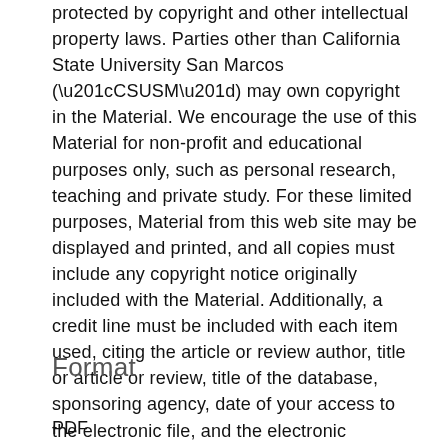protected by copyright and other intellectual property laws. Parties other than California State University San Marcos (“CSUSM”) may own copyright in the Material. We encourage the use of this Material for non-profit and educational purposes only, such as personal research, teaching and private study. For these limited purposes, Material from this web site may be displayed and printed, and all copies must include any copyright notice originally included with the Material. Additionally, a credit line must be included with each item used, citing the article or review author, title or article or review, title of the database, sponsoring agency, date of your access to the electronic file, and the electronic address. Copyright 2015, California State University San Marcos
Format
PDF